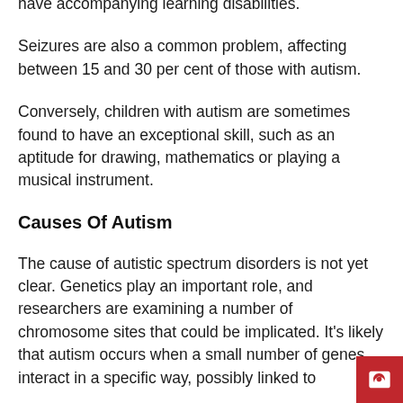have accompanying learning disabilities.
Seizures are also a common problem, affecting between 15 and 30 per cent of those with autism.
Conversely, children with autism are sometimes found to have an exceptional skill, such as an aptitude for drawing, mathematics or playing a musical instrument.
Causes Of Autism
The cause of autistic spectrum disorders is not yet clear. Genetics play an important role, and researchers are examining a number of chromosome sites that could be implicated. It's likely that autism occurs when a small number of genes interact in a specific way, possibly linked to